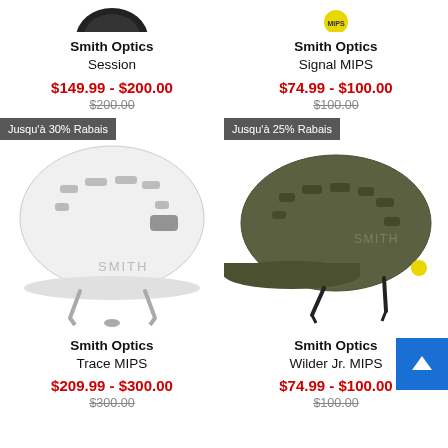[Figure (photo): Smith Optics Session helmet (black, top portion cropped)]
Smith Optics
Session
$149.99 - $200.00
$200.00
[Figure (photo): Smith Optics Signal MIPS helmet with MIPS yellow badge, partial top view]
Smith Optics
Signal MIPS
$74.99 - $100.00
$100.00
[Figure (photo): White Smith Optics Trace MIPS bicycle helmet with 'Jusqu'à 30% Rabais' discount badge]
Smith Optics
Trace MIPS
$209.99 - $300.00
$300.00
[Figure (photo): Olive/green Smith Optics Wilder Jr. MIPS bicycle helmet with 'Jusqu'à 25% Rabais' discount badge]
Smith Optics
Wilder Jr. MIPS
$74.99 - $100.00
$100.00